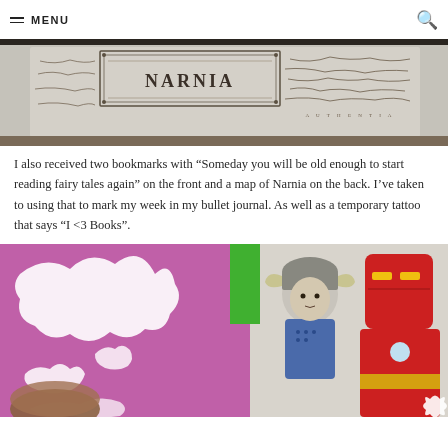MENU
[Figure (photo): A photo of a bookmark showing a map of Narnia with the word NARNIA visible along with hand-drawn map details on a light grey/tan background.]
I also received two bookmarks with “Someday you will be old enough to start reading fairy tales again” on the front and a map of Narnia on the back. I’ve taken to using that to mark my week in my bullet journal. As well as a temporary tattoo that says “I <3 Books”.
[Figure (photo): A photo showing kawaii-style illustration art with a pink/magenta background featuring white silhouette shapes, and cartoon chibi-style superhero characters including what appears to be Thor and Iron Man on the right side.]